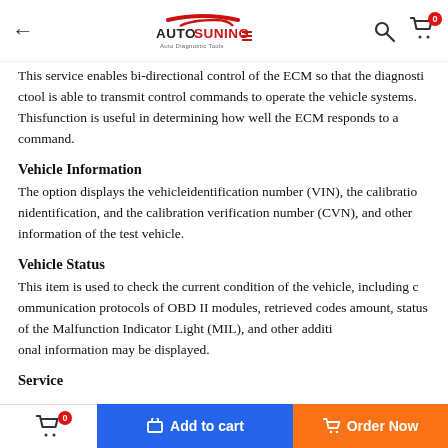Autosuning Auto Diagnostic Tools
This service enables bi-directional control of the ECM so that the diagnostictool is able to transmit control commands to operate the vehicle systems. Thisfunction is useful in determining how well the ECM responds to a command.
Vehicle Information
The option displays the vehicleidentification number (VIN), the calibrationidentification, and the calibration verification number (CVN), and other information of the test vehicle.
Vehicle Status
This item is used to check the current condition of the vehicle, including communication protocols of OBD II modules, retrieved codes amount, status of the Malfunction Indicator Light (MIL), and other additional information may be displayed.
Service
The Service section is specially designed to provide you quick access to the vehicle's service functions, including oil reset, electronic parking brake, and battery management system.